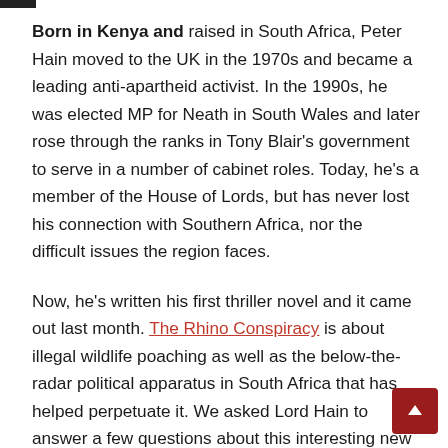Born in Kenya and raised in South Africa, Peter Hain moved to the UK in the 1970s and became a leading anti-apartheid activist. In the 1990s, he was elected MP for Neath in South Wales and later rose through the ranks in Tony Blair's government to serve in a number of cabinet roles. Today, he's a member of the House of Lords, but has never lost his connection with Southern Africa, nor the difficult issues the region faces.
Now, he's written his first thriller novel and it came out last month. The Rhino Conspiracy is about illegal wildlife poaching as well as the below-the-radar political apparatus in South Africa that has helped perpetuate it. We asked Lord Hain to answer a few questions about this interesting new